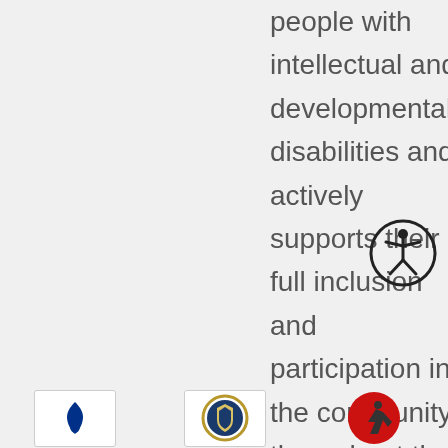people with intellectual and developmental disabilities and actively supports their full inclusion and participation in the community throughout their lifetimes.
[Figure (illustration): Accessibility icon — a circle with a stylized human figure inside, arms and legs outstretched]
[Figure (logo): Better Business Bureau logo — blue flame/torch icon in a rounded square border]
[Figure (logo): Organization seal/badge with gold border and blue shield emblem]
[Figure (logo): Red circular logo with a jumping/leaping figure silhouette]